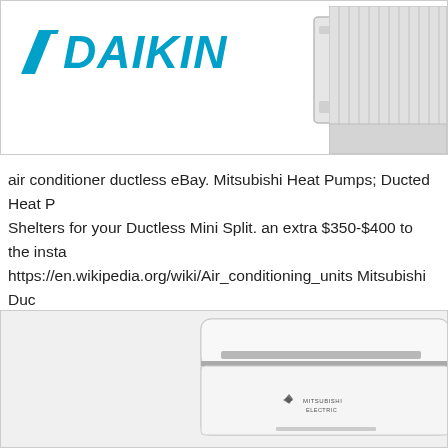[Figure (photo): Daikin logo with teal chevron and italic bold text, plus a white indoor unit and outdoor condenser unit on the right]
air conditioner ductless eBay. Mitsubishi Heat Pumps; Ducted Heat P... Shelters for your Ductless Mini Split. an extra $350-$400 to the insta... https://en.wikipedia.org/wiki/Air_conditioning_units Mitsubishi Duc... Ductless Mini Split How to Install a Ductless Mini Split. Systems wi... which will guide you.
[Figure (photo): Mitsubishi Electric ductless mini split indoor unit, white rectangular floor-standing unit with logo and horizontal ventilation slot]